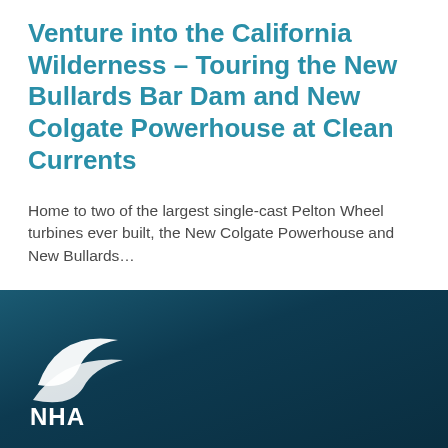Venture into the California Wilderness – Touring the New Bullards Bar Dam and New Colgate Powerhouse at Clean Currents
Home to two of the largest single-cast Pelton Wheel turbines ever built, the New Colgate Powerhouse and New Bullards…
[Figure (logo): NHA logo — white swoosh/wing shapes above the letters NHA on a dark teal gradient background]